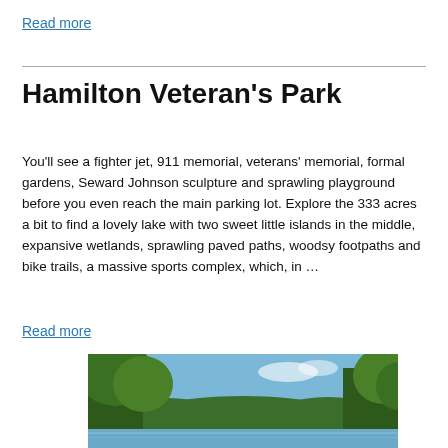Read more
Hamilton Veteran's Park
You'll see a fighter jet, 911 memorial, veterans' memorial, formal gardens, Seward Johnson sculpture and sprawling playground before you even reach the main parking lot. Explore the 333 acres a bit to find a lovely lake with two sweet little islands in the middle, expansive wetlands, sprawling paved paths, woodsy footpaths and bike trails, a massive sports complex, which, in …
Read more
[Figure (photo): Outdoor park scene with trees framing a view of water and blue sky]